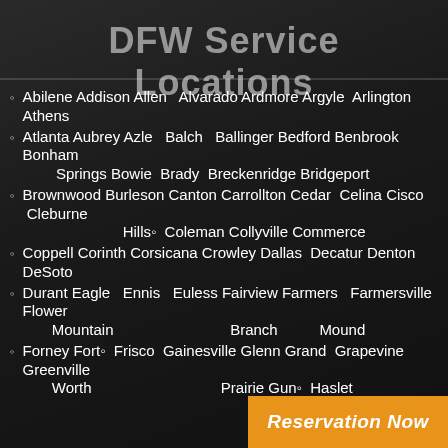DFW Service Locations
Abilene Addison Allen  Alvarado Ardmore Argyle Arlington Athens
Atlanta Aubrey Azle  Balch  Ballinger Bedford Benbrook Bonham Springs Bowie Brady Breckenridge Bridgeport
Brownwood Burleson Canton Carrollton Cedar Celina Cisco Cleburne Hills Coleman Collyville Commerce
Coppell Corinth Corsicana Crowley Dallas Decatur Denton DeSoto
Durant Eagle Mountain Ennis Euless Fairview Farmers Branch Farmersville Flower Mound
Forney Fort Worth Frisco Gainesville Gilmer Grand Prairie Grapevine Greenville Gun Barrel City Haslet
[Figure (other): Orange button with text 'Reservation Now']